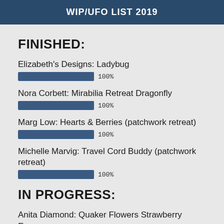WIP/UFO LIST 2019
FINISHED:
Elizabeth's Designs: Ladybug
[Figure (bar-chart): Progress]
Nora Corbett: Mirabilia Retreat Dragonfly
[Figure (bar-chart): Progress]
Marg Low: Hearts & Berries (patchwork retreat)
[Figure (bar-chart): Progress]
Michelle Marvig: Travel Cord Buddy (patchwork retreat)
[Figure (bar-chart): Progress]
IN PROGRESS:
Anita Diamond: Quaker Flowers Strawberry Emery
[Figure (bar-chart): Progress]
Beaded fish